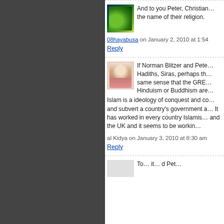[Figure (photo): Landscape/nature avatar image with sky and green field]
And to you Peter, Christian... the name of their religion.
08hayabusa on January 2, 2010 at 1:54
Reply
[Figure (photo): Portrait of elderly man wearing pink/white traditional headwear]
If Norman Blitzer and Pete... Hadiths, Siras, perhaps th... same sense that the GRE... Hinduism or Buddhism are... Islam is a ideology of conquest and co... and subvert a country's government a... It has worked in every country Islamis... and the UK and it seems to be workin...
al Kidya on January 3, 2010 at 8:30 am
Reply